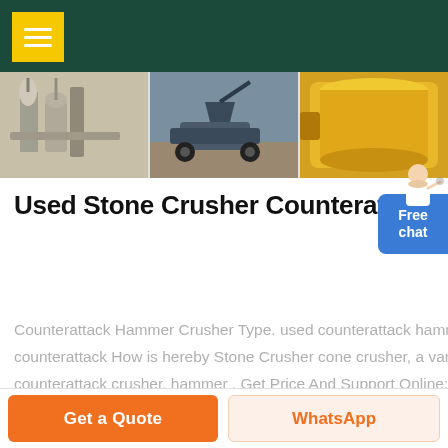Navigation header with menu button
[Figure (photo): Three industrial machinery photos: dust collectors/pipes, an excavator on dirt, and a yellow cylindrical machine part]
Used Stone Crusher Counterattack How Is Hereby
Counterattack Hammer Crusher Type. used counterattack hammer crusher. used stone crusher counterattack How is hereby Stone Crusher cone crusher, a variety of different types of counterattack crusher, hammer . Get Price And Support Online; counterattack hammer crusher drawings – antexpharma. Guard, counterattack
Get a Quote | WhatsApp